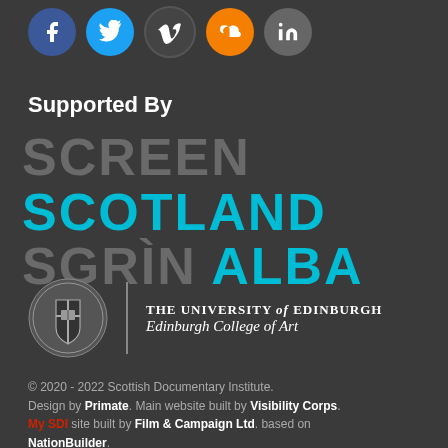[Figure (illustration): Row of social media icon circles: Facebook (blue), Twitter (light blue), Vimeo (dark), SoundCloud (orange), LinkedIn (grey)]
Supported By
[Figure (logo): Screen Scotland / Sgrìn Alba logo in large bold text, grey and cyan]
[Figure (logo): The University of Edinburgh crest with text: THE UNIVERSITY of EDINBURGH, Edinburgh College of Art]
© 2020 - 2022 Scottish Documentary Institute. Design by Primate. Main website built by Visibility Corps. My SDI site built by Film & Campaign Ltd. based on NationBuilder.